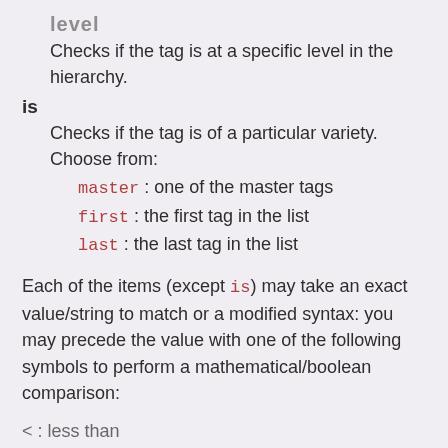level
Checks if the tag is at a specific level in the hierarchy.
is
Checks if the tag is of a particular variety. Choose from:
master : one of the master tags
first : the first tag in the list
last : the last tag in the list
Each of the items (except is) may take an exact value/string to match or a modified syntax: you may precede the value with one of the following symbols to perform a mathematical/boolean comparison:
< : less than